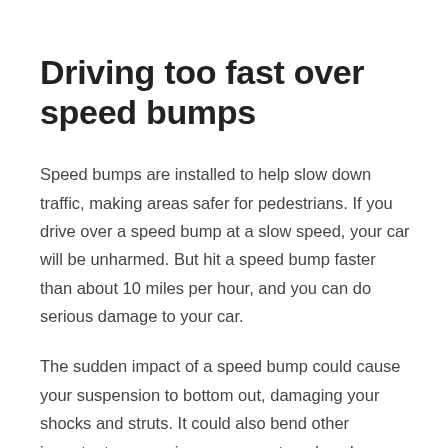Driving too fast over speed bumps
Speed bumps are installed to help slow down traffic, making areas safer for pedestrians. If you drive over a speed bump at a slow speed, your car will be unharmed. But hit a speed bump faster than about 10 miles per hour, and you can do serious damage to your car.
The sudden impact of a speed bump could cause your suspension to bottom out, damaging your shocks and struts. It could also bend other important suspension components or knock your car out of alignment. So take it